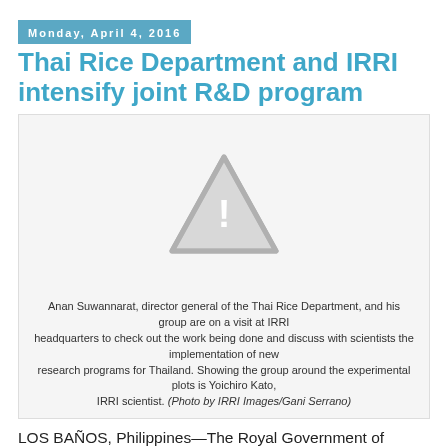Monday, April 4, 2016
Thai Rice Department and IRRI intensify joint R&D program
[Figure (photo): Missing image placeholder showing a grey warning triangle with exclamation mark on a light grey background]
Anan Suwannarat, director general of the Thai Rice Department, and his group are on a visit at IRRI headquarters to check out the work being done and discuss with scientists the implementation of new research programs for Thailand. Showing the group around the experimental plots is Yoichiro Kato, IRRI scientist. (Photo by IRRI Images/Gani Serrano)
LOS BAÑOS, Philippines—The Royal Government of Thailand is set to strengthen research and development ties